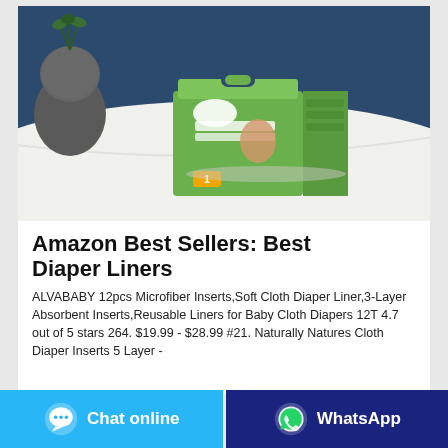[Figure (photo): Product photo of Mamaloves Baby Diapers green box packaging on a white table surface with a dark vase in background, dark blue wall behind.]
Amazon Best Sellers: Best Diaper Liners
ALVABABY 12pcs Microfiber Inserts,Soft Cloth Diaper Liner,3-Layer Absorbent Inserts,Reusable Liners for Baby Cloth Diapers 12T 4.7 out of 5 stars 264. $19.99 - $28.99 #21. Naturally Natures Cloth Diaper Inserts 5 Layer -
Chat online
WhatsApp